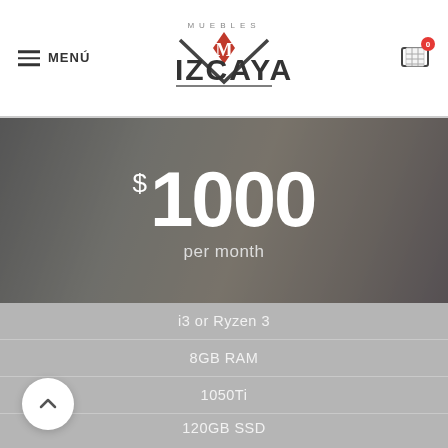MENÚ — Muebles Vizcaya — Cart (0)
[Figure (screenshot): Hero banner with blurred living room background showing price of $1000 per month]
$1000
per month
i3 or Ryzen 3
8GB RAM
1050Ti
120GB SSD